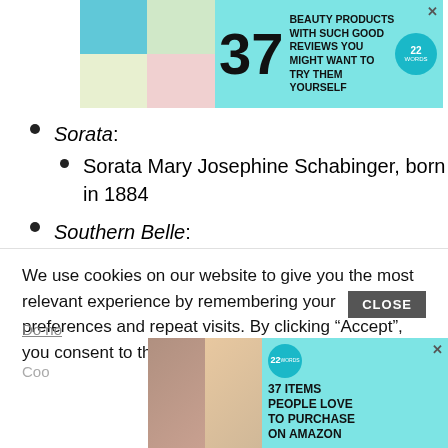[Figure (other): Advertisement banner: 37 BEAUTY PRODUCTS WITH SUCH GOOD REVIEWS YOU MIGHT WANT TO TRY THEM YOURSELF, 22 Words logo]
Sorata:
Sorata Mary Josephine Schabinger, born in 1884
Southern Belle:
Belle Glenfield, born in 1874
Southesk:
We use cookies on our website to give you the most relevant experience by remembering your preferences and repeat visits. By clicking “Accept”, you consent to the use of ALL the cookies.
[Figure (other): Advertisement: 37 ITEMS PEOPLE LOVE TO PURCHASE ON AMAZON, 22 Words logo]